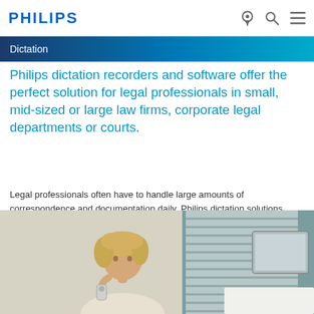PHILIPS
Dictation
Philips dictation recorders and software offer the perfect solution for legal professionals in small, mid-sized or large law firms, corporate legal departments or courts.
Legal professionals often have to handle large amounts of correspondence and documentation daily. Philips dictation solutions support them managing their work load, lower their administrative costs and increase their efficiency and profits.
[Figure (photo): Woman with blonde curly hair sitting at a desk in an office, holding a dictation device near her ear, with a computer monitor and blinds visible in the background.]